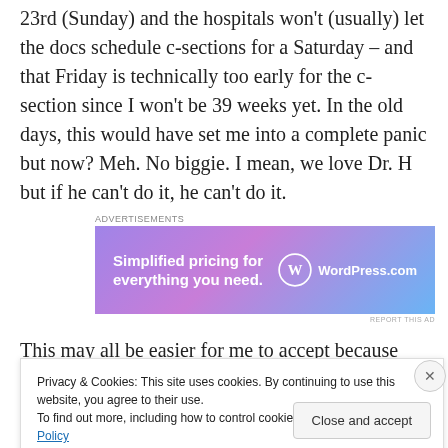23rd (Sunday) and the hospitals won't (usually) let the docs schedule c-sections for a Saturday – and that Friday is technically too early for the c-section since I won't be 39 weeks yet.  In the old days, this would have set me into a complete panic but now?  Meh.  No biggie.  I mean, we love Dr. H but if he can't do it, he can't do it.
[Figure (other): WordPress.com advertisement banner with text 'Simplified pricing for everything you need.' and WordPress.com logo on a purple-blue gradient background]
This may all be easier for me to accept because he's
Privacy & Cookies: This site uses cookies. By continuing to use this website, you agree to their use.
To find out more, including how to control cookies, see here: Cookie Policy